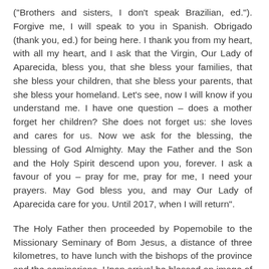("Brothers and sisters, I don't speak Brazilian, ed."). Forgive me, I will speak to you in Spanish. Obrigado (thank you, ed.) for being here. I thank you from my heart, with all my heart, and I ask that the Virgin, Our Lady of Aparecida, bless you, that she bless your families, that she bless your children, that she bless your parents, that she bless your homeland. Let's see, now I will know if you understand me. I have one question – does a mother forget her children? She does not forget us: she loves and cares for us. Now we ask for the blessing, the blessing of God Almighty. May the Father and the Son and the Holy Spirit descend upon you, forever. I ask a favour of you – pray for me, pray for me, I need your prayers. May God bless you, and may Our Lady of Aparecida care for you. Until 2017, when I will return".
The Holy Father then proceeded by Popemobile to the Missionary Seminary of Bom Jesus, a distance of three kilometres, to have lunch with the bishops of the province and the seminarians. Upon arrival he blessed an image of Frei Galvao (St. Antonio de Santana Galvao, canonised by Pope Benedict XVI in Sao Paulo during his apostolic trip in 2007), which is located in the sanctuary dedicated to the